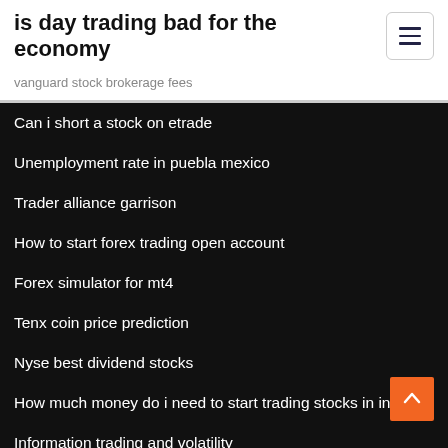is day trading bad for the economy
vanguard stock brokerage fees
Can i short a stock on etrade
Unemployment rate in puebla mexico
Trader alliance garrison
How to start forex trading open account
Forex simulator for mt4
Tenx coin price prediction
Nyse best dividend stocks
How much money do i need to start trading stocks in india
Information trading and volatility
Average cost of destination wedding in dominican republic